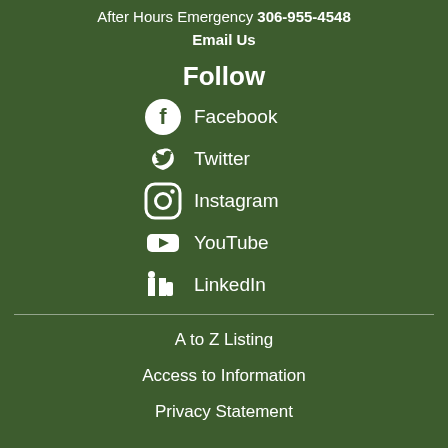After Hours Emergency 306-955-4548
Email Us
Follow
Facebook
Twitter
Instagram
YouTube
LinkedIn
A to Z Listing
Access to Information
Privacy Statement